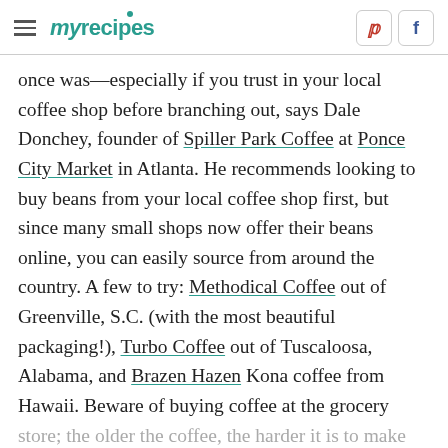myrecipes
once was—especially if you trust in your local coffee shop before branching out, says Dale Donchey, founder of Spiller Park Coffee at Ponce City Market in Atlanta. He recommends looking to buy beans from your local coffee shop first, but since many small shops now offer their beans online, you can easily source from around the country. A few to try: Methodical Coffee out of Greenville, S.C. (with the most beautiful packaging!), Turbo Coffee out of Tuscaloosa, Alabama, and Brazen Hazen Kona coffee from Hawaii. Beware of buying coffee at the grocery store; the older the coffee, the harder it is to make it taste good. Donchey says. Always check roast